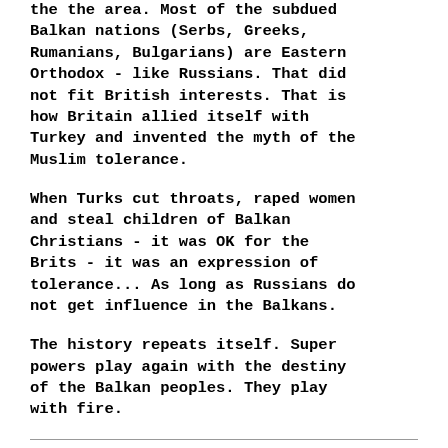the the area. Most of the subdued Balkan nations (Serbs, Greeks, Rumanians, Bulgarians) are Eastern Orthodox - like Russians. That did not fit British interests. That is how Britain allied itself with Turkey and invented the myth of the Muslim tolerance.
When Turks cut throats, raped women and steal children of Balkan Christians - it was OK for the Brits - it was an expression of tolerance... As long as Russians do not get influence in the Balkans.
The history repeats itself. Super powers play again with the destiny of the Balkan peoples. They play with fire.
RELATED TOPICS: